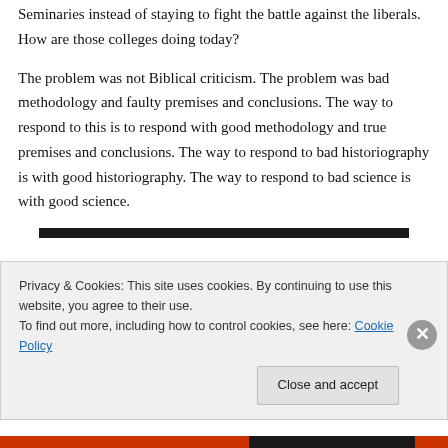Seminaries instead of staying to fight the battle against the liberals. How are those colleges doing today?
The problem was not Biblical criticism. The problem was bad methodology and faulty premises and conclusions. The way to respond to this is to respond with good methodology and true premises and conclusions. The way to respond to bad historiography is with good historiography. The way to respond to bad science is with good science.
[Figure (other): Thick black horizontal separator bar]
Privacy & Cookies: This site uses cookies. By continuing to use this website, you agree to their use.
To find out more, including how to control cookies, see here: Cookie Policy
Close and accept